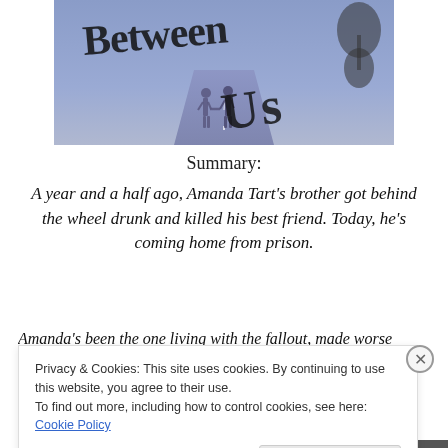[Figure (illustration): Book cover showing two silhouettes of people holding hands on a misty road, with stylized brush-script text 'Between Us' overlaid on a blue-purple foggy background]
Summary:
A year and a half ago, Amanda Tart's brother got behind the wheel drunk and killed his best friend. Today, he's coming home from prison.
Amanda's been the one living with the fallout, made worse
Privacy & Cookies: This site uses cookies. By continuing to use this website, you agree to their use.
To find out more, including how to control cookies, see here: Cookie Policy
Close and accept